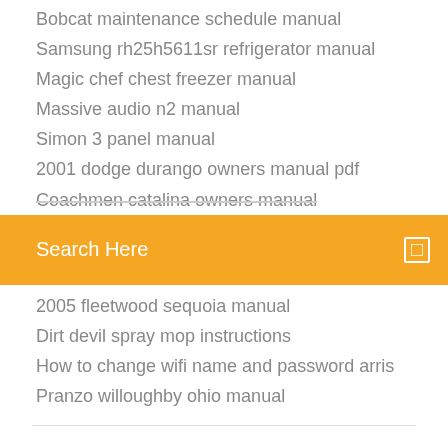Bobcat maintenance schedule manual
Samsung rh25h5611sr refrigerator manual
Magic chef chest freezer manual
Massive audio n2 manual
Simon 3 panel manual
2001 dodge durango owners manual pdf
Coachmen catalina owners manual
Search Here
2005 fleetwood sequoia manual
Dirt devil spray mop instructions
How to change wifi name and password arris
Pranzo willoughby ohio manual
Hmm, is like you do given the boisterous dancing a music of pieces.